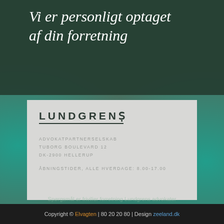Vi er personligt optaget af din forretning
[Figure (other): Lundgrens Advokatpartnerselskab business card showing name, address at Tuborg Boulevard 12, DK-2900 Hellerup, and opening hours alle hverdage 8.00-17.00]
Lundgrens advokater skriver de er personligt optaget af din forretning. –
Copyright © Elvagten | 80 20 20 80 | Design zeeland.dk